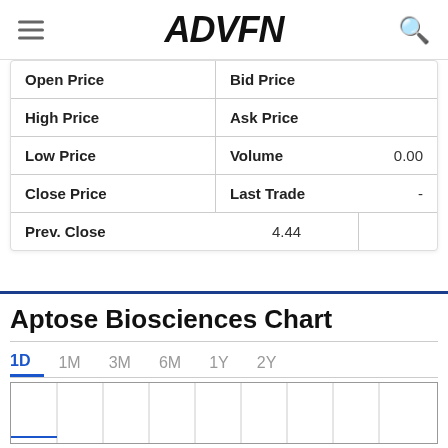ADVFN
| Label | Value | Label | Value |
| --- | --- | --- | --- |
| Open Price |  | Bid Price |  |
| High Price |  | Ask Price |  |
| Low Price |  | Volume | 0.00 |
| Close Price |  | Last Trade | - |
| Prev. Close | 4.44 |  |  |
Aptose Biosciences Chart
[Figure (continuous-plot): Aptose Biosciences intraday stock chart (1D view), blank chart area with vertical gridlines and blue border on top. Time-frame tabs: 1D (active, blue), 1M, 3M, 6M, 1Y, 2Y.]